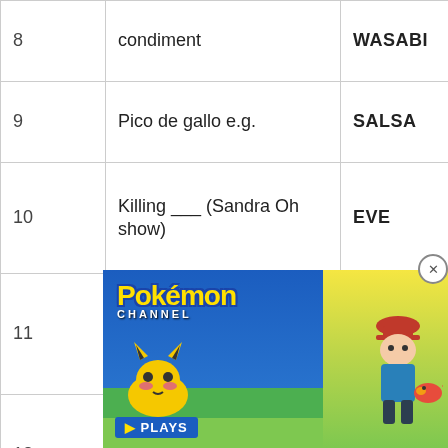| # | Clue | Answer |
| --- | --- | --- |
| 8 | condiment | WASABI |
| 9 | Pico de gallo e.g. | SALSA |
| 10 | Killing ___ (Sandra Oh show) | EVE |
| 11 | Designs made with steamed milk | LATTEART |
| 12 | Plant in a 2-Down grove | LIMETREE |
| 13 | Like a Slim Jim | SLENDER |
| 14 | Missouri city for... |  |
| 15 |  |  |
[Figure (advertisement): Pokemon Channel advertisement with Pikachu and trainer character visible, with a PLAYS badge at the bottom left. A close button (X) appears in the top right corner.]
[Figure (advertisement): Topgolf advertisement bar at bottom left with dine-in and delivery options indicated.]